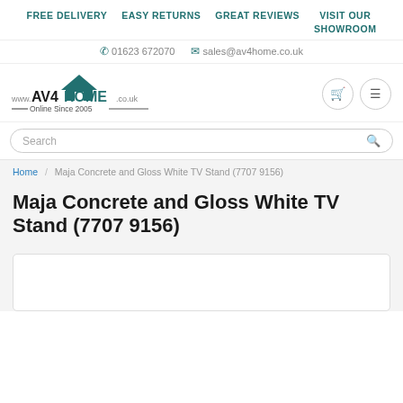FREE DELIVERY  EASY RETURNS  GREAT REVIEWS  VISIT OUR SHOWROOM
01623 672070  sales@av4home.co.uk
[Figure (logo): AV4HOME logo with house icon, www.AV4HOME.co.uk, Online Since 2005]
Search
Home / Maja Concrete and Gloss White TV Stand (7707 9156)
Maja Concrete and Gloss White TV Stand (7707 9156)